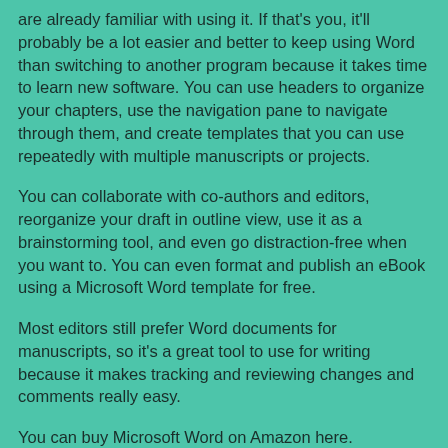are already familiar with using it. If that's you, it'll probably be a lot easier and better to keep using Word than switching to another program because it takes time to learn new software. You can use headers to organize your chapters, use the navigation pane to navigate through them, and create templates that you can use repeatedly with multiple manuscripts or projects.
You can collaborate with co-authors and editors, reorganize your draft in outline view, use it as a brainstorming tool, and even go distraction-free when you want to. You can even format and publish an eBook using a Microsoft Word template for free.
Most editors still prefer Word documents for manuscripts, so it's a great tool to use for writing because it makes tracking and reviewing changes and comments really easy.
You can buy Microsoft Word on Amazon here.